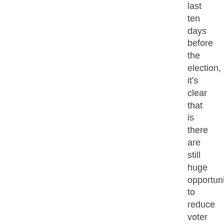last ten days before the election, it's clear that is there are still huge opportunities to reduce voter suppression.Â How to make best use of